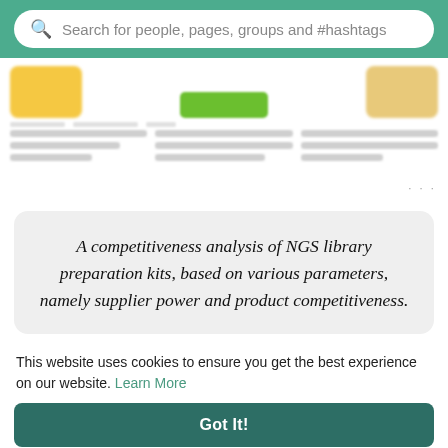Search for people, pages, groups and #hashtags
[Figure (screenshot): Blurred social media feed content with images and text cards]
A competitiveness analysis of NGS library preparation kits, based on various parameters, namely supplier power and product competitiveness.
This website uses cookies to ensure you get the best experience on our website. Learn More
Got It!